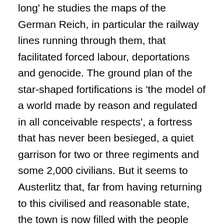long' he studies the maps of the German Reich, in particular the railway lines running through them, that facilitated forced labour, deportations and genocide. The ground plan of the star-shaped fortifications is 'the model of a world made by reason and regulated in all conceivable respects', a fortress that has never been besieged, a quiet garrison for two or three regiments and some 2,000 civilians. But it seems to Austerlitz that, far from having returning to this civilised and reasonable state, the town is now filled with the people who had been shut in to the ghetto, as if 'they had never been taken away after all, but were still living crammed into those buildings and basements and attics, as if they were incessantly going up and down the stairs, looking out of the windows, moving in vast numbers through the streets and alleys and even, a silent assembly, filling the entire space occupied by the air'.